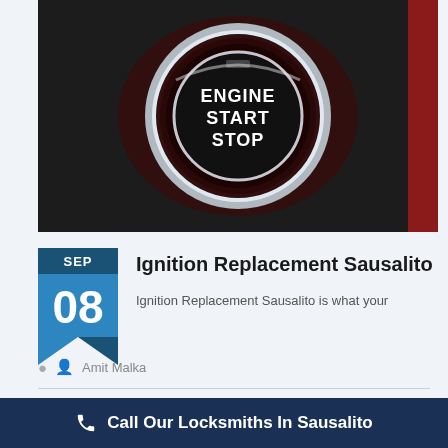[Figure (photo): Close-up photo of a car's Engine Start Stop push button on a dark leather dashboard, with a chrome ring and red interior glow, glowing blue text reading ENGINE START STOP]
Ignition Replacement Sausalito
Ignition Replacement Sausalito is what your
Amit Malka
Call Our Locksmiths In Sausalito